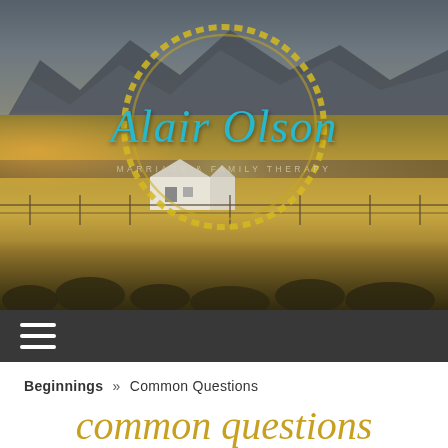[Figure (photo): Hero banner photo of western rural landscape with mountains, golden fields, white farmhouse, fencing and scrub brush. Overlaid with circular yellow logo and teal cursive text 'Alair Olson' and subtitle 'Marriage & Family Therapy']
☰ (hamburger menu icon on dark navigation bar)
Beginnings » Common Questions
common questions